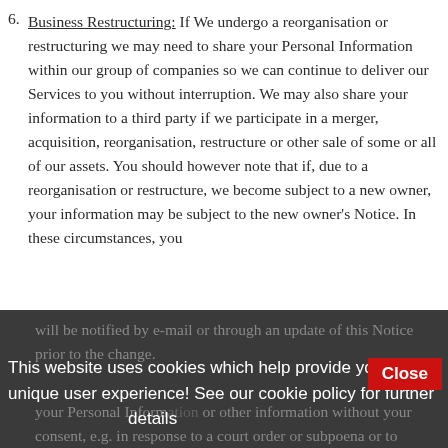Business Restructuring: If We undergo a reorganisation or restructuring we may need to share your Personal Information within our group of companies so we can continue to deliver our Services to you without interruption. We may also share your information to a third party if we participate in a merger, acquisition, reorganisation, restructure or other sale of some or all of our assets. You should however note that if, due to a reorganisation or restructure, we become subject to a new owner, your information may be subject to the new owner's Notice. In these circumstances, you will be notified by e-mail or through an update of this Notice prior to the change.
This website uses cookies which help provide you with a unique user experience! See our cookie policy for further details